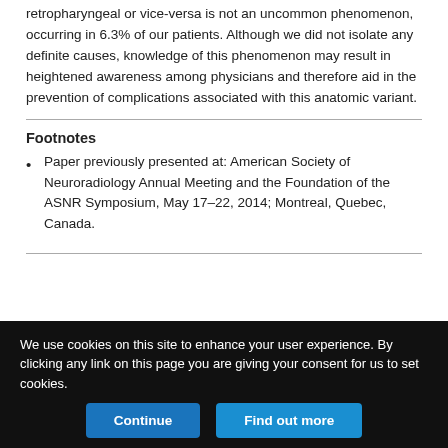retropharyngeal or vice-versa is not an uncommon phenomenon, occurring in 6.3% of our patients. Although we did not isolate any definite causes, knowledge of this phenomenon may result in heightened awareness among physicians and therefore aid in the prevention of complications associated with this anatomic variant.
Footnotes
Paper previously presented at: American Society of Neuroradiology Annual Meeting and the Foundation of the ASNR Symposium, May 17–22, 2014; Montreal, Quebec, Canada.
We use cookies on this site to enhance your user experience. By clicking any link on this page you are giving your consent for us to set cookies.